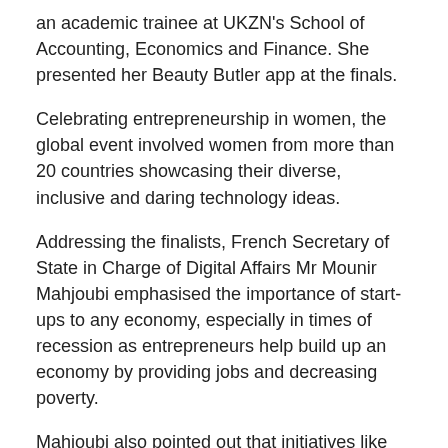an academic trainee at UKZN's School of Accounting, Economics and Finance. She presented her Beauty Butler app at the finals.
Celebrating entrepreneurship in women, the global event involved women from more than 20 countries showcasing their diverse, inclusive and daring technology ideas.
Addressing the finalists, French Secretary of State in Charge of Digital Affairs Mr Mounir Mahjoubi emphasised the importance of start-ups to any economy, especially in times of recession as entrepreneurs help build up an economy by providing jobs and decreasing poverty.
Mahjoubi also pointed out that initiatives like the GSWW contributed to making the world a better place as it gave aspiring entrepreneurs the courage to pursue their ideas.
After winning the South African edition held at UKZN's Graduate School of Business and Leadership, Shaikjee said the experience of an ‘ordinary girl from Durban’ becoming a runner up in Paris was like a dream, especially as she had to compete with individuals f…